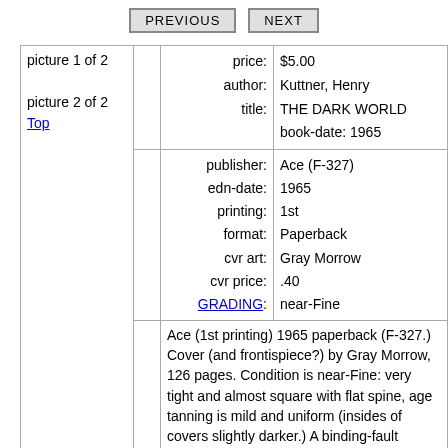| picture 1 of 2

picture 2 of 2
Top |  | price:
author:
title: | $5.00
Kuttner, Henry
THE DARK WORLD
book-date: 1965 |
|  |  | publisher:
edn-date:
printing:
format:
cvr art:
cvr price:
GRADING: | Ace (F-327)
1965
1st
Paperback
Gray Morrow
.40
near-Fine |
|  |  |  | Ace (1st printing) 1965 paperback (F-327.) Cover (and frontispiece?) by Gray Morrow, 126 pages. Condition is near-Fine: very tight and almost square with flat spine, age tanning is mild and uniform (insides of covers slightly darker.) A binding-fault causes the page block to bulge slightly at right, the pages are tightly |